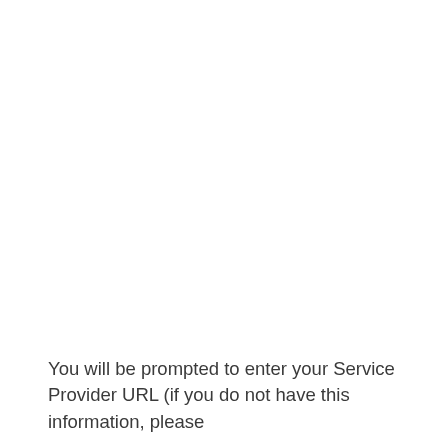You will be prompted to enter your Service Provider URL (if you do not have this information, please